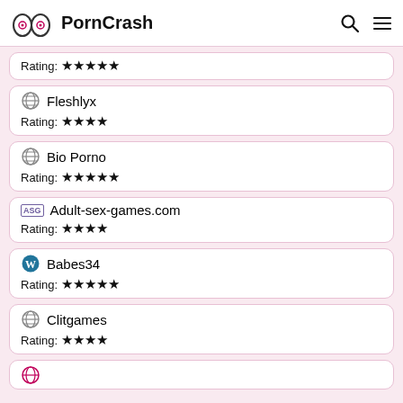PornCrash
Rating: ★★★★★
Fleshlyx
Rating: ★★★★
Bio Porno
Rating: ★★★★★
Adult-sex-games.com
Rating: ★★★★
Babes34
Rating: ★★★★★
Clitgames
Rating: ★★★★
(partial)